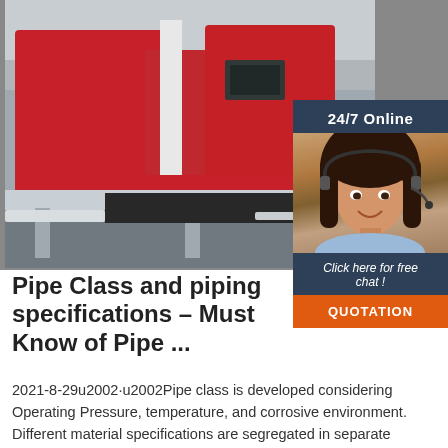[Figure (photo): Industrial red and white CNC pipe processing / band saw machine in a factory setting. Large red machine panels visible, with table conveyors.]
[Figure (photo): Customer service representative woman smiling with headset. Sidebar overlay with dark blue background, '24/7 Online' text, 'Click here for free chat!' text, and orange QUOTATION button.]
Pipe Class and piping specifications – Must Know of Pipe ...
2021-8-29u2002·u2002Pipe class is developed considering Operating Pressure, temperature, and corrosive environment. Different material specifications are segregated in separate 'Piping